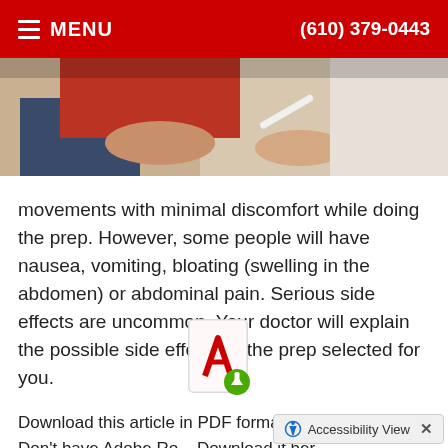MENU  (610) 379-0443
[Figure (photo): Close-up photo of a medical consultation, showing hands and a pen, patient wearing jeans and red jacket]
movements with minimal discomfort while doing the prep. However, some people will have nausea, vomiting, bloating (swelling in the abdomen) or abdominal pain. Serious side effects are uncommon. Your doctor will explain the possible side effects of the prep selected for you.
[Figure (illustration): PDF icon with a green download arrow overlay]
Download this article in PDF format.
Don't have Adobe Ro... Download it her...